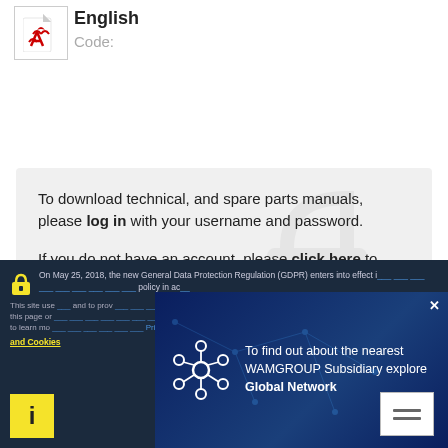[Figure (logo): Adobe PDF icon in a bordered box]
English
Code:
To download technical, and spare parts manuals, please log in with your username and password.

If you do not have an account, please click here to register.
On May 25, 2018, the new General Data Protection Regulation (GDPR) enters into effect i... policy in ac...
This site use... and to prov... this page or... to learn mo... and Cookies
[Figure (infographic): Blue popup with network graph icon and text: To find out about the nearest WAMGROUP Subsidiary explore Global Network]
OK